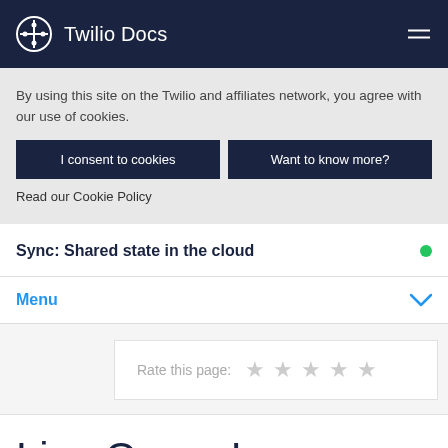Twilio Docs
By using this site on the Twilio and affiliates network, you agree with our use of cookies.
I consent to cookies
Want to know more?
Read our Cookie Policy
Sync: Shared state in the cloud
Menu
Rate this page:
Live Query Language